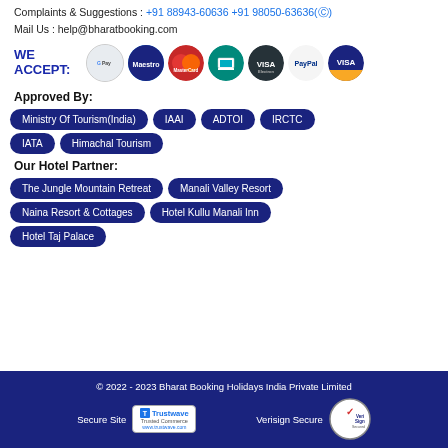Complaints & Suggestions : +91 88943-60636 +91 98050-63636(whatsapp)
Mail Us : help@bharatbooking.com
[Figure (infographic): WE ACCEPT payment logos: Google Pay, Maestro, MasterCard, laptop/online, Visa Electron, PayPal, Visa]
Approved By:
Ministry Of Tourism(India)
IAAI
ADTOI
IRCTC
IATA
Himachal Tourism
Our Hotel Partner:
The Jungle Mountain Retreat
Manali Valley Resort
Naina Resort & Cottages
Hotel Kullu Manali Inn
Hotel Taj Palace
© 2022 - 2023 Bharat Booking Holidays India Private Limited | Secure Site [Trustwave] | Verisign Secure [VeriSign Secured]